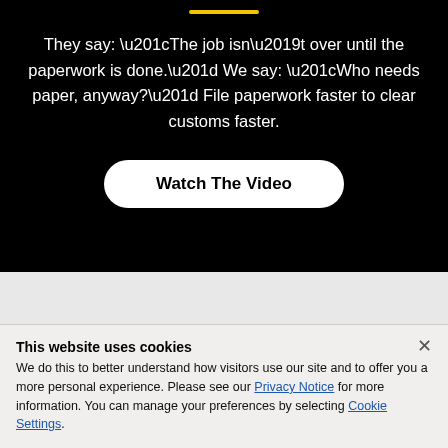They say: “The job isn’t over until the paperwork is done.” We say: “Who needs paper, anyway?” File paperwork faster to clear customs faster.
Watch The Video
This website uses cookies
We do this to better understand how visitors use our site and to offer you a more personal experience. Please see our Privacy Notice for more information. You can manage your preferences by selecting Cookie Settings.